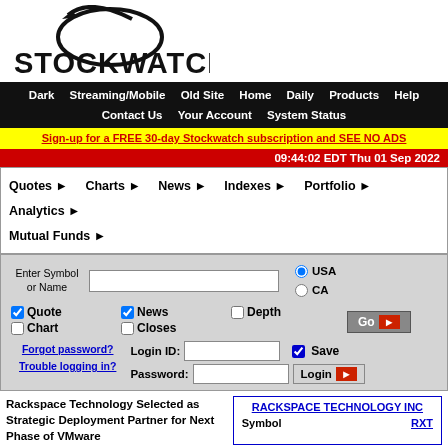[Figure (logo): Stockwatch logo with orbital ring graphic and bold text STOCKWATCH]
Dark  Streaming/Mobile  Old Site  Home  Daily  Products  Help  Contact Us  Your Account  System Status
Sign-up for a FREE 30-day Stockwatch subscription and SEE NO ADS
09:44:02 EDT Thu 01 Sep 2022
Quotes ▶  Charts ▶  News ▶  Indexes ▶  Portfolio ▶  Analytics ▶  Mutual Funds ▶
Enter Symbol or Name  [input]  USA (radio selected)  CA (radio)  Quote ✓  News ✓  Depth □  Chart □  Closes □  Go →
Forgot password? Trouble logging in?  Login ID: [input]  Save ✓  Password: [input]  Login →
Rackspace Technology Selected as Strategic Deployment Partner for Next Phase of VMware
|  |  |
| --- | --- |
| Symbol | RXT |